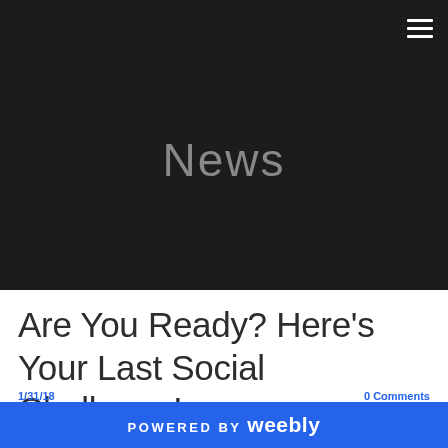News
Are You Ready? Here's Your Last Social Challenge!
POWERED BY weebly